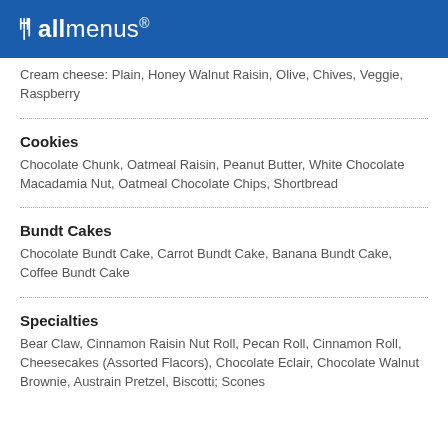allmenus
Cream cheese: Plain, Honey Walnut Raisin, Olive, Chives, Veggie, Raspberry
Cookies
Chocolate Chunk, Oatmeal Raisin, Peanut Butter, White Chocolate Macadamia Nut, Oatmeal Chocolate Chips, Shortbread
Bundt Cakes
Chocolate Bundt Cake, Carrot Bundt Cake, Banana Bundt Cake, Coffee Bundt Cake
Specialties
Bear Claw, Cinnamon Raisin Nut Roll, Pecan Roll, Cinnamon Roll, Cheesecakes (Assorted Flacors), Chocolate Eclair, Chocolate Walnut Brownie, Austrain Pretzel, Biscotti; Scones